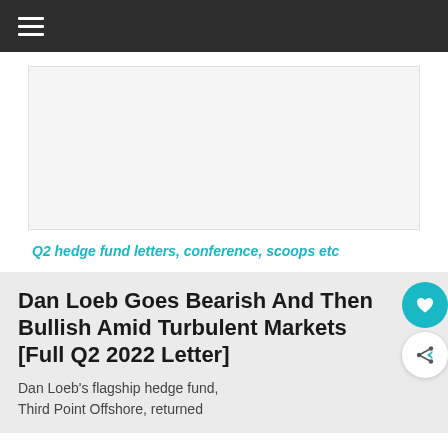☰ (navigation menu)
[Figure (other): Advertisement / banner placeholder area]
Q2 hedge fund letters, conference, scoops etc
Dan Loeb Goes Bearish And Then Bullish Amid Turbulent Markets [Full Q2 2022 Letter]
Dan Loeb's flagship hedge fund, Third Point Offshore, returned